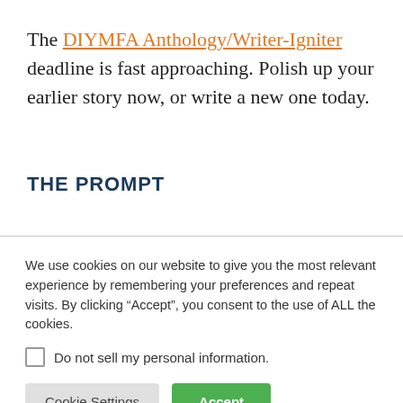The DIYMFA Anthology/Writer-Igniter deadline is fast approaching. Polish up your earlier story now, or write a new one today.
THE PROMPT
We use cookies on our website to give you the most relevant experience by remembering your preferences and repeat visits. By clicking “Accept”, you consent to the use of ALL the cookies.
Do not sell my personal information.
Cookie Settings  Accept